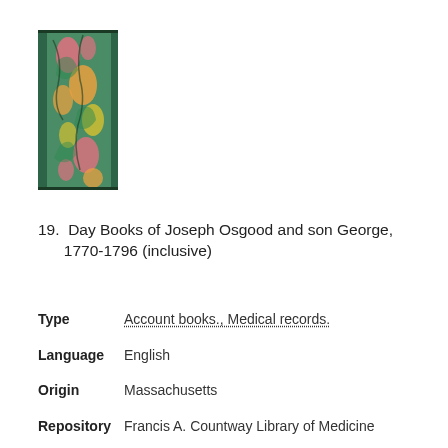[Figure (photo): A decorative book spine/cover with colorful paisley and floral pattern in green, pink, orange, and yellow tones.]
19.  Day Books of Joseph Osgood and son George, 1770-1796 (inclusive)
Type   Account books., Medical records.
Language   English
Origin   Massachusetts
Repository   Francis A. Countway Library of Medicine